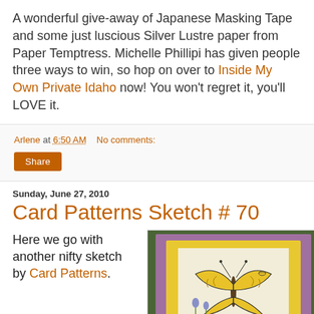A wonderful give-away of Japanese Masking Tape and some just luscious Silver Lustre paper from Paper Temptress. Michelle Phillipi has given people three ways to win, so hop on over to Inside My Own Private Idaho now! You won't regret it, you'll LOVE it.
Arlene at 6:50 AM   No comments:
Share
Sunday, June 27, 2010
Card Patterns Sketch # 70
Here we go with another nifty sketch by Card Patterns.
[Figure (photo): Handmade greeting card on green background: card with purple scalloped border, yellow layer, white inner panel featuring a yellow butterfly with black outlines, small bee, and blue flower stems.]